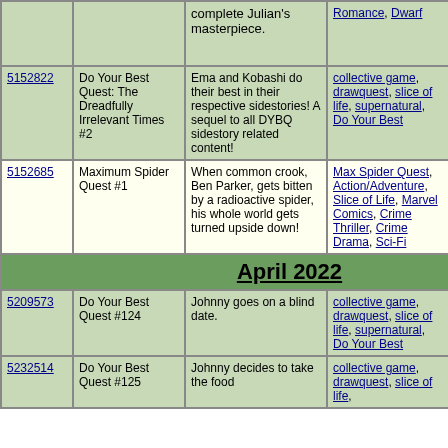| ID | Title | Description | Tags | Date | # |  |
| --- | --- | --- | --- | --- | --- | --- |
| [partial row top] |  | complete Julian's masterpiece. | Romance, Dwarf |  |  |  |
| 5152822 | Do Your Best Quest: The Dreadfully Irrelevant Times #2 | Ema and Kobashi do their best in their respective sidestories! A sequel to all DYBQ sidestory related content! | collective game, drawquest, slice of life, supernatural, Do Your Best | 2022-03-17 | 8 |  |
| 5152685 | Maximum Spider Quest #1 | When common crook, Ben Parker, gets bitten by a radioactive spider, his whole world gets turned upside down! | Max Spider Quest, Action/Adventure, Slice of Life, Marvel Comics, Crime Thriller, Crime Drama, Sci-Fi | 2022-03-20 | 35 |  |
| April 2022 |  |  |  |  |  |  |
| 5209573 | Do Your Best Quest #124 | Johnny goes on a blind date. | collective game, drawquest, slice of life, supernatural, Do Your Best | 2022-04-06 | 5 |  |
| 5232514 | Do Your Best Quest #125 | Johnny decides to take the food | collective game, drawquest, slice of life, | 2022-04-21 | 5 |  |